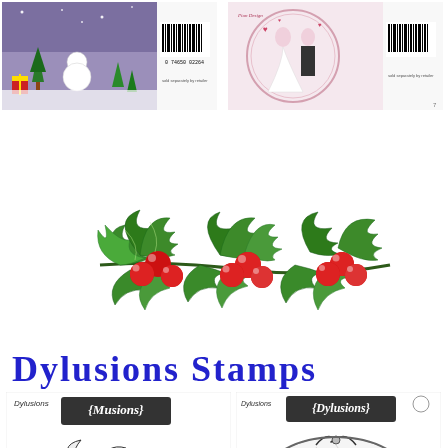[Figure (photo): Christmas scene product packaging showing trees, presents, and snowy night scene with barcode on right side]
[Figure (photo): Wedding themed product packaging showing bride and groom illustration with barcode]
[Figure (illustration): Colorful holly branch with spiky green leaves and red berries, decorative Christmas element]
Dylusions Stamps
[Figure (illustration): Dylusions stamp set showing black and white sketched holly with Merry Christmas text and decorative borders]
[Figure (illustration): Dylusions stamp set showing black and white sketched decorative design with Dylusions branding]